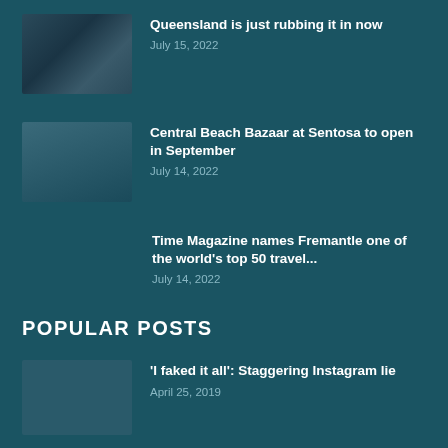Queensland is just rubbing it in now
July 15, 2022
Central Beach Bazaar at Sentosa to open in September
July 14, 2022
Time Magazine names Fremantle one of the world's top 50 travel...
July 14, 2022
POPULAR POSTS
'I faked it all': Staggering Instagram lie
April 25, 2019